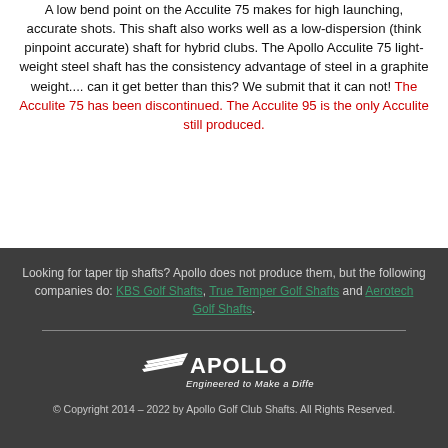A low bend point on the Acculite 75 makes for high launching, accurate shots. This shaft also works well as a low-dispersion (think pinpoint accurate) shaft for hybrid clubs. The Apollo Acculite 75 light-weight steel shaft has the consistency advantage of steel in a graphite weight.... can it get better than this? We submit that it can not! The Acculite 75 has been discontinued. The Acculite 95 is the only Acculite still produced.
Looking for taper tip shafts? Apollo does not produce them, but the following companies do: KBS Golf Shafts, True Temper Golf Shafts and Aerotech Golf Shafts.
[Figure (logo): Apollo Golf logo with tagline 'Engineered to Make a Difference']
© Copyright 2014 – 2022 by Apollo Golf Club Shafts. All Rights Reserved.